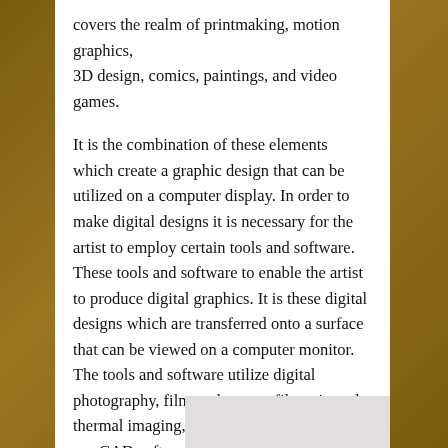covers the realm of printmaking, motion graphics, 3D design, comics, paintings, and video games.
It is the combination of these elements which create a graphic design that can be utilized on a computer display. In order to make digital designs it is necessary for the artist to employ certain tools and software. These tools and software to enable the artist to produce digital graphics. It is these digital designs which are transferred onto a surface that can be viewed on a computer monitor. The tools and software utilize digital photography, film-makers use filmstrip and thermal imaging, architects, and designers use CAD software, and photographers and artists use Photoshop.
Man